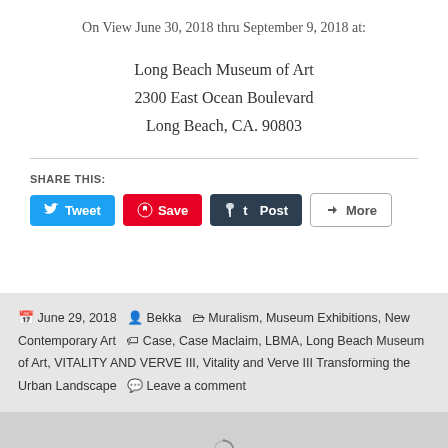On View June 30, 2018 thru September 9, 2018 at:
Long Beach Museum of Art
2300 East Ocean Boulevard
Long Beach, CA. 90803
SHARE THIS:
Tweet  Save  Post  More
June 29, 2018  Bekka  Muralism, Museum Exhibitions, New Contemporary Art  Case, Case Maclaim, LBMA, Long Beach Museum of Art, VITALITY AND VERVE III, Vitality and Verve III Transforming the Urban Landscape  Leave a comment